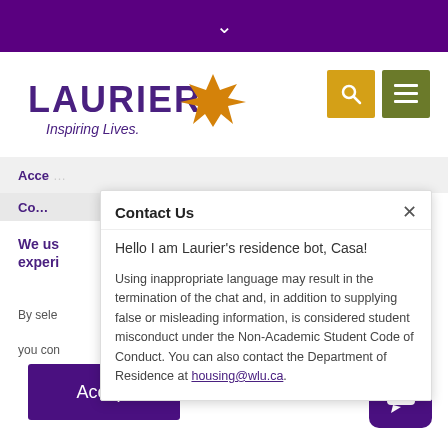▾
[Figure (logo): Wilfrid Laurier University logo with maple leaf and tagline 'Inspiring Lives.']
Contact Us
Hello I am Laurier's residence bot, Casa!
Using inappropriate language may result in the termination of the chat and, in addition to supplying false or misleading information, is considered student misconduct under the Non-Academic Student Code of Conduct. You can also contact the Department of Residence at housing@wlu.ca.
We use cookies to improve your experience
By selecting...
Accept